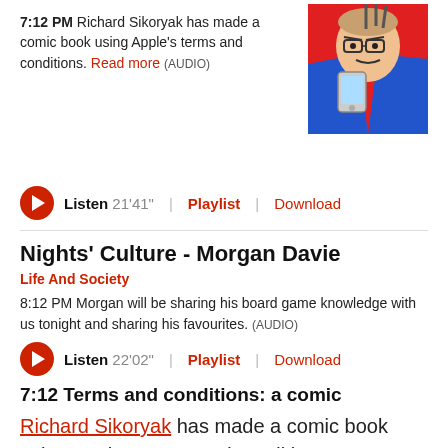7:12 PM Richard Sikoryak has made a comic book using Apple's terms and conditions. Read more (AUDIO)
[Figure (illustration): Comic book style illustration of a bald man with glasses holding a device, on red and blue background]
Listen 21'41" | Playlist | Download
Nights' Culture - Morgan Davie
Life And Society
8:12 PM Morgan will be sharing his board game knowledge with us tonight and sharing his favourites. (AUDIO)
Listen 22'02" | Playlist | Download
7:12 Terms and conditions: a comic
Richard Sikoryak has made a comic book using Apple's terms and conditions.